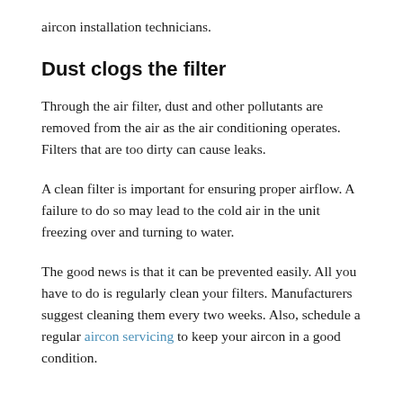aircon installation technicians.
Dust clogs the filter
Through the air filter, dust and other pollutants are removed from the air as the air conditioning operates. Filters that are too dirty can cause leaks.
A clean filter is important for ensuring proper airflow. A failure to do so may lead to the cold air in the unit freezing over and turning to water.
The good news is that it can be prevented easily. All you have to do is regularly clean your filters. Manufacturers suggest cleaning them every two weeks. Also, schedule a regular aircon servicing to keep your aircon in a good condition.